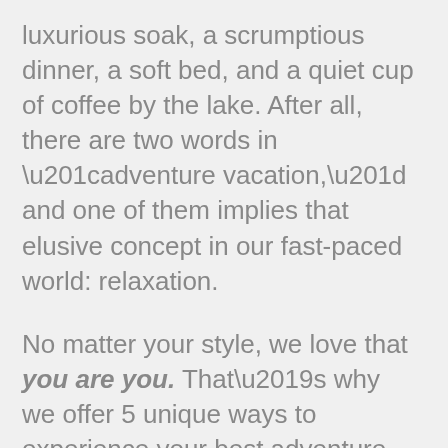luxurious soak, a scrumptious dinner, a soft bed, and a quiet cup of coffee by the lake. After all, there are two words in “adventure vacation,” and one of them implies that elusive concept in our fast-paced world: relaxation.
No matter your style, we love that you are you. That’s why we offer 5 unique ways to experience your best adventure vacation ever: